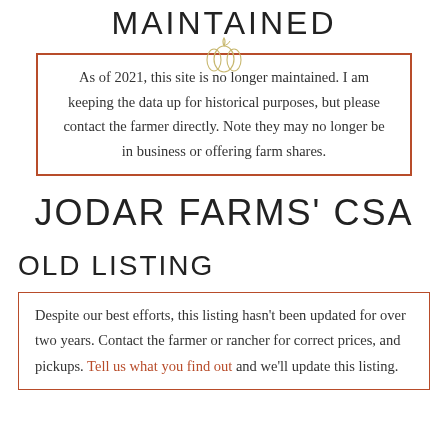MAINTAINED
As of 2021, this site is no longer maintained. I am keeping the data up for historical purposes, but please contact the farmer directly. Note they may no longer be in business or offering farm shares.
JODAR FARMS' CSA
OLD LISTING
Despite our best efforts, this listing hasn't been updated for over two years. Contact the farmer or rancher for correct prices, and pickups. Tell us what you find out and we'll update this listing.